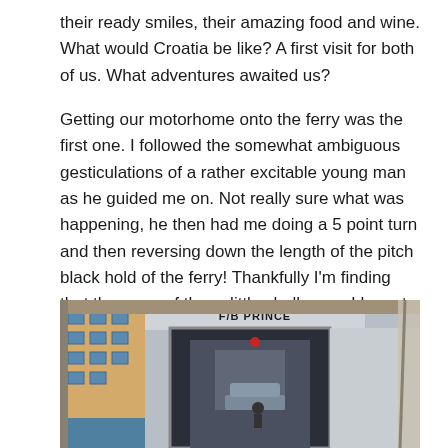their ready smiles, their amazing food and wine. What would Croatia be like? A first visit for both of us. What adventures awaited us?

Getting our motorhome onto the ferry was the first one. I followed the somewhat ambiguous gesticulations of a rather excitable young man as he guided me on. Not really sure what was happening, he then had me doing a 5 point turn and then reversing down the length of the pitch black hold of the ferry! Thankfully I'm finding that the more of these little challenges I have to tackle, the less stressed I get about them...Catherine likes that as well 🙂
[Figure (photo): View from inside a motorhome looking out at the open rear ramp of a ferry labeled 'F/B PRINCE'. A car can be seen inside the dark ferry hold. A building is visible to the left.]